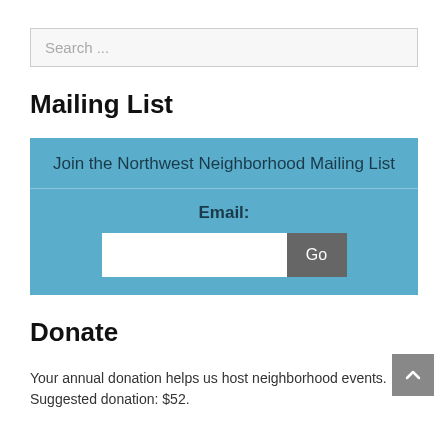Search ...
Mailing List
Join the Northwest Neighborhood Mailing List
Email:
Donate
Your annual donation helps us host neighborhood events. Suggested donation: $52.